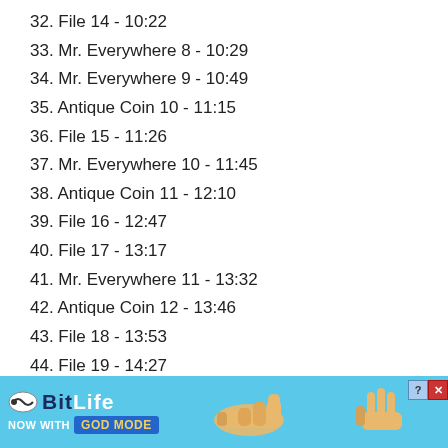32. File 14 - 10:22
33. Mr. Everywhere 8 - 10:29
34. Mr. Everywhere 9 - 10:49
35. Antique Coin 10 - 11:15
36. File 15 - 11:26
37. Mr. Everywhere 10 - 11:45
38. Antique Coin 11 - 12:10
39. File 16 - 12:47
40. File 17 - 13:17
41. Mr. Everywhere 11 - 13:32
42. Antique Coin 12 - 13:46
43. File 18 - 13:53
44. File 19 - 14:27
45. File 20 - 14:55
46. Videotape 3 "Happy Birtday" - 15:05
47. Mr. Everywhere 12 - 15:30
48. File 21 - 15:41
49. Ant...
50. Mr....
51. File...
[Figure (screenshot): BitLife advertisement banner with blue background, logo, 'NOW WITH GOD MODE' text, hand illustration, and close buttons]